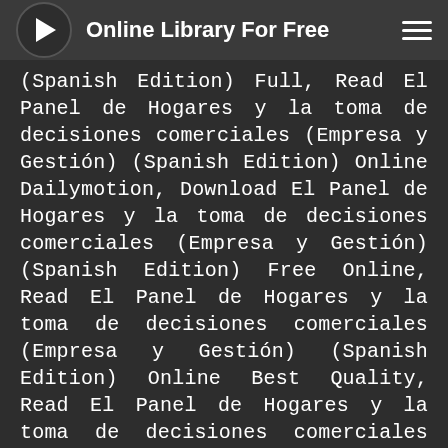Online Library For Free
(Spanish Edition) Full, Read El Panel de Hogares y la toma de decisiones comerciales (Empresa y Gestión) (Spanish Edition) Online Dailymotion, Download El Panel de Hogares y la toma de decisiones comerciales (Empresa y Gestión) (Spanish Edition) Free Online, Read El Panel de Hogares y la toma de decisiones comerciales (Empresa y Gestión) (Spanish Edition) Online Best Quality, Read El Panel de Hogares y la toma de decisiones comerciales (Empresa y Gestión) (Spanish Edition) Free Good Quality, Read El Panel de Hogares y la toma de decisiones comerciales (Empresa y Gestión) (Spanish Edition) Online Free Yes Books, Read El Panel de Hogares y la toma de decisiones comerciales (Empresa y Gestión) (Spanish Edition) Reddit, Read El Panel de Hogares y la toma de decisiones comerciales (Empresa y Gestión) (Spanish Edition) Online Free Yes Books, Read El Panel de Hogares y la toma de decisiones comerciales (Empresa y Gestión) (Spanish